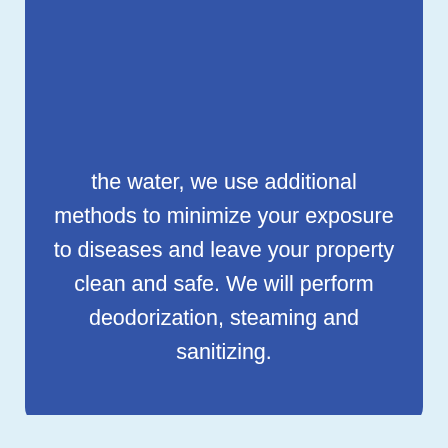the water, we use additional methods to minimize your exposure to diseases and leave your property clean and safe. We will perform deodorization, steaming and sanitizing.
[Figure (infographic): Step 6 numbered circle with title 'Finishing Evaluation' and body text 'At the last stage, our team will handle every']
Finishing Evaluation
At the last stage, our team will handle every